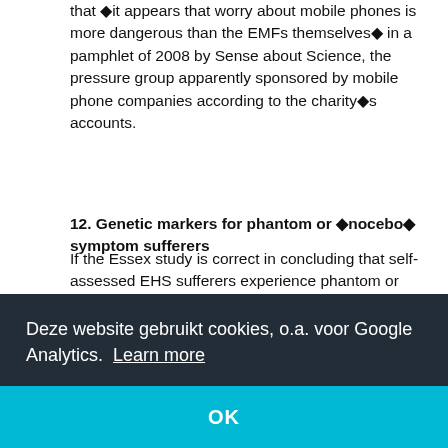that ◆it appears that worry about mobile phones is more dangerous than the EMFs themselves◆ in a pamphlet of 2008 by Sense about Science, the pressure group apparently sponsored by mobile phone companies according to the charity◆s accounts.
12. Genetic markers for phantom or ◆nocebo◆ symptom sufferers
If the Essex study is correct in concluding that self-assessed EHS sufferers experience phantom or ◆nocebo◆ symptoms more than controls, then there should be genetic markers to identify this sub-group. When these markers and those for ordinary EHS have been identified, it should then be possible to distinguish this subgroup of EHS from those who experience real symptoms directly.
Deze website gebruikt cookies, o.a. voor Google Analytics. Learn more
OK
14. Psychiatric factors